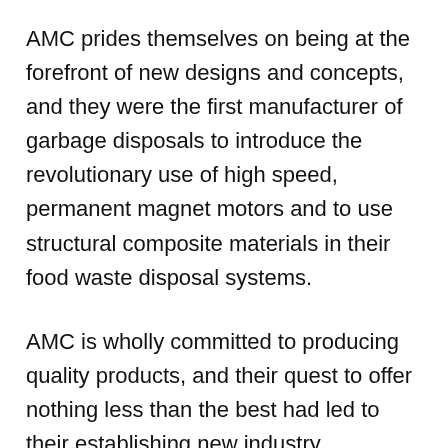AMC prides themselves on being at the forefront of new designs and concepts, and they were the first manufacturer of garbage disposals to introduce the revolutionary use of high speed, permanent magnet motors and to use structural composite materials in their food waste disposal systems.
AMC is wholly committed to producing quality products, and their quest to offer nothing less than the best had led to their establishing new industry standards – like the lifetime warranty they offer on their